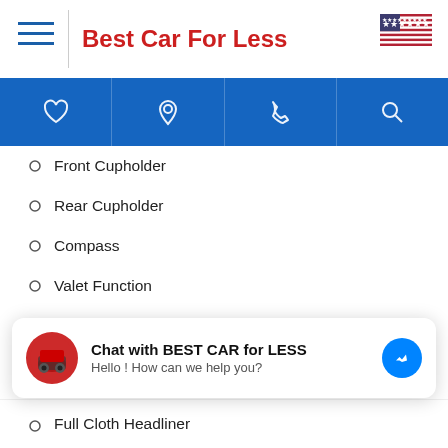Best Car For Less
Front Cupholder
Rear Cupholder
Compass
Valet Function
Garage Door Transmitter
Cruise Control w/Steering Wheel Controls
HVAC -inc: Underseat Ducts and Console Ducts
Dual Zone Front Automatic Air Conditioning
Full Cloth Headliner